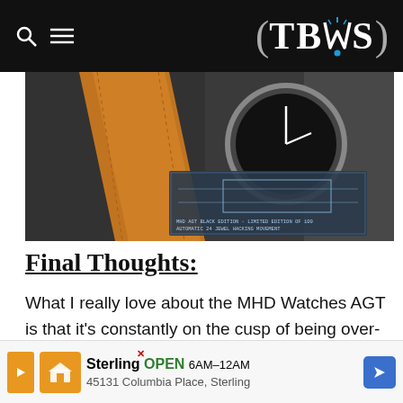TBWS (navigation bar with logo)
[Figure (photo): Close-up photograph of a watch with orange/tan leather strap and dark dial, placed on engineering blueprint/technical drawing card. Text on card reads: MHD AGT BLACK EDITION · LIMITED EDITION OF 100, AUTOMATIC 24 JEWEL HACKING MOVEMENT]
Final Thoughts:
What I really love about the MHD Watches AGT is that it's constantly on the cusp of being over-designed (not a bad thing) – just when you think it's going to tip over the edge design-wise, it pulls back and keeps itself grounded/grounds itself
[Figure (other): Advertisement banner: Sterling OPEN 6AM–12AM, 45131 Columbia Place, Sterling]